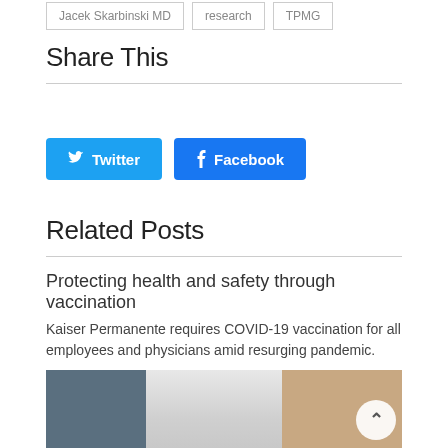Jacek Skarbinski MD
research
TPMG
Share This
[Figure (other): Twitter and Facebook share buttons]
Related Posts
Protecting health and safety through vaccination
Kaiser Permanente requires COVID-19 vaccination for all employees and physicians amid resurging pandemic.
[Figure (photo): Hospital corridor interior photo]